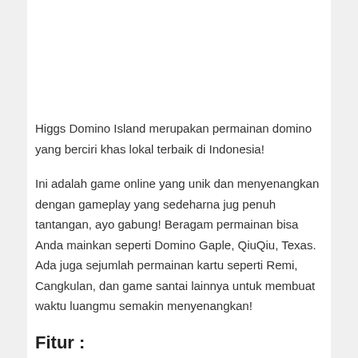Higgs Domino Island merupakan permainan domino yang berciri khas lokal terbaik di Indonesia!
Ini adalah game online yang unik dan menyenangkan dengan gameplay yang sedeharna jug penuh tantangan, ayo gabung! Beragam permainan bisa Anda mainkan seperti Domino Gaple, QiuQiu, Texas. Ada juga sejumlah permainan kartu seperti Remi, Cangkulan, dan game santai lainnya untuk membuat waktu luangmu semakin menyenangkan!
Fitur :
1. Desain menawan dan fashionable membuat suasana